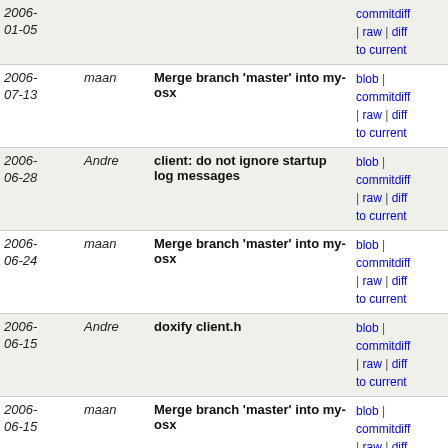| Date | Author | Message | Links |
| --- | --- | --- | --- |
| 2006-01-05 | maan | (partial - top cut off) | blob | commitdiff | raw | diff to current |
| 2006-07-13 | maan | Merge branch 'master' into my-osx | blob | commitdiff | raw | diff to current |
| 2006-06-28 | Andre | client: do not ignore startup log messages | blob | commitdiff | raw | diff to current |
| 2006-06-24 | maan | Merge branch 'master' into my-osx | blob | commitdiff | raw | diff to current |
| 2006-06-15 | Andre | doxify client.h | blob | commitdiff | raw | diff to current |
| 2006-06-15 | maan | Merge branch 'master' into my-osx | blob | commitdiff | raw | diff to current |
| 2006-06-15 | Andre | fix thinko in para_client's para_log() | blob | commitdiff | raw | diff to current |
| 2006-06-15 | maan | Merge branch 'master' into my-osx | blob | commitdiff | raw | diff to current |
| 2006-06-15 | Andre | split client.c | blob | commitdiff | raw | diff to current |
| 2006-06-13 | Andre | get rid of init_shed() | blob | commitdiff | raw | diff to current |
| 2006-06-13 | Andre | fix cut-and paste typo. | blob | commitdiff | raw | diff to current |